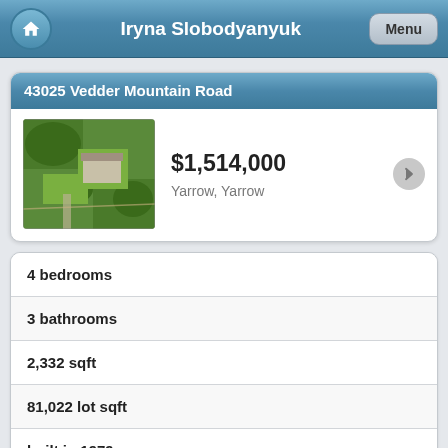Iryna Slobodyanyuk
43025 Vedder Mountain Road
[Figure (photo): Aerial/satellite view of property with green lawn and trees]
$1,514,000
Yarrow, Yarrow
4 bedrooms
3 bathrooms
2,332 sqft
81,022 lot sqft
built in 1979
$5,250 taxes in 2022
House with Acreage